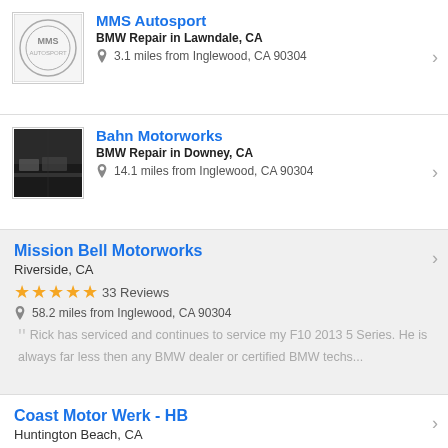MMS Autosport
BMW Repair in Lawndale, CA
3.1 miles from Inglewood, CA 90304
Bahn Motorworks
BMW Repair in Downey, CA
14.1 miles from Inglewood, CA 90304
Mission Bell Motorworks
Riverside, CA
33 Reviews
58.2 miles from Inglewood, CA 90304
Rick has serviced and continues to service my F10 2013 5 Series. He is always far less then any BMW dealer or certified BMW techs...
Coast Motor Werk - HB
Huntington Beach, CA
30 Reviews